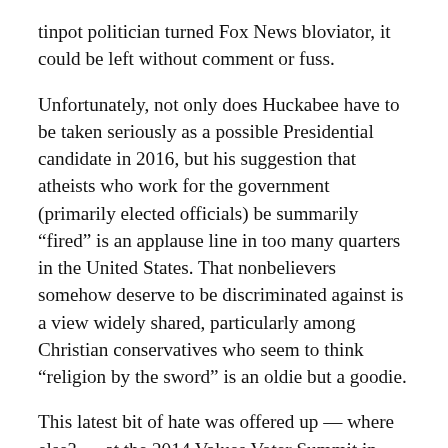tinpot politician turned Fox News bloviator, it could be left without comment or fuss.
Unfortunately, not only does Huckabee have to be taken seriously as a possible Presidential candidate in 2016, but his suggestion that atheists who work for the government (primarily elected officials) be summarily “fired” is an applause line in too many quarters in the United States. That nonbelievers somehow deserve to be discriminated against is a view widely shared, particularly among Christian conservatives who seem to think “religion by the sword” is an oldie but a goodie.
This latest bit of hate was offered up — where else? — at the 2014 Values Voter Summit in Washington, D.C. The ritual hookup between Christian conservatives and Republican presidential aspirants is a right wing, Jesus-loves-us debauch of Homophobia, Intolerance